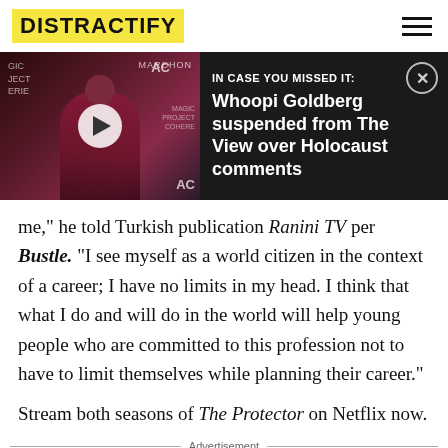DISTRACTIFY
[Figure (screenshot): Video banner showing a person in a red outfit with play button overlay, and text 'IN CASE YOU MISSED IT: Whoopi Goldberg suspended from The View over Holocaust comments' on dark background. MARCHON branding visible.]
me," he told Turkish publication Ranini TV per Bustle. "I see myself as a world citizen in the context of a career; I have no limits in my head. I think that what I do and will do in the world will help young people who are committed to this profession not to have to limit themselves while planning their career."
Stream both seasons of The Protector on Netflix now.
Advertisement